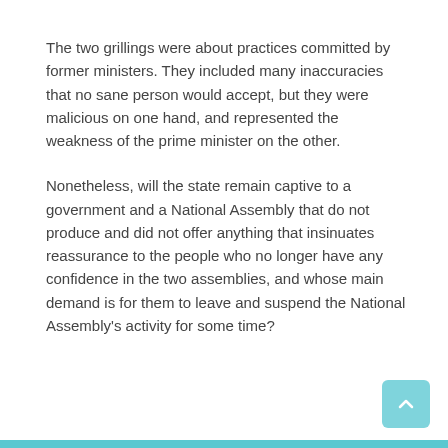The two grillings were about practices committed by former ministers. They included many inaccuracies that no sane person would accept, but they were malicious on one hand, and represented the weakness of the prime minister on the other.
Nonetheless, will the state remain captive to a government and a National Assembly that do not produce and did not offer anything that insinuates reassurance to the people who no longer have any confidence in the two assemblies, and whose main demand is for them to leave and suspend the National Assembly's activity for some time?